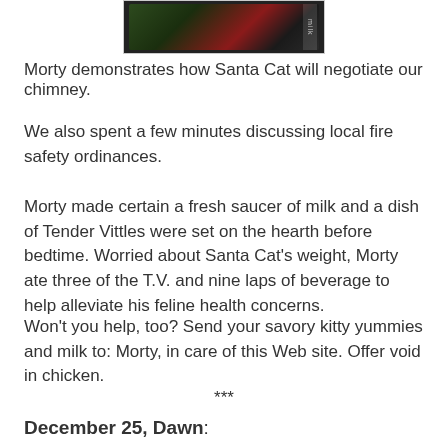[Figure (photo): Partial photo of a cat, cropped, dark background with green and red tones, text 'milk' visible on the right edge]
Morty demonstrates how Santa Cat will negotiate our chimney.
We also spent a few minutes discussing local fire safety ordinances.
Morty made certain a fresh saucer of milk and a dish of Tender Vittles were set on the hearth before bedtime. Worried about Santa Cat's weight, Morty ate three of the T.V. and nine laps of beverage to help alleviate his feline health concerns.
Won't you help, too? Send your savory kitty yummies and milk to: Morty, in care of this Web site. Offer void in chicken.
***
December 25, Dawn: